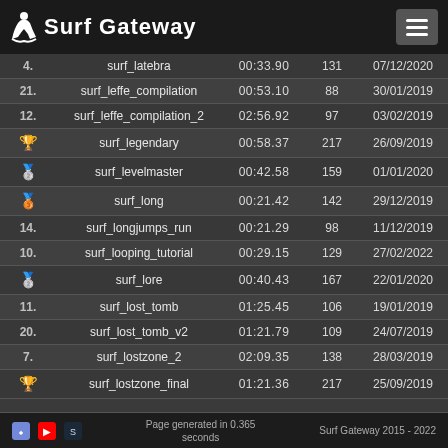Surf Gateway
| Rank | Map | Time | Pts | Date |
| --- | --- | --- | --- | --- |
| 4. | surf_latebra | 00:33.90 | 131 | 07/12/2020 |
| 21. | surf_leffe_compilation | 00:53.10 | 88 | 30/01/2019 |
| 12. | surf_leffe_compilation_2 | 02:56.92 | 97 | 03/02/2019 |
| 🏆 | surf_legendary | 00:58.37 | 217 | 26/09/2019 |
| 🥈 | surf_levelmaster | 00:42.58 | 159 | 01/01/2020 |
| 🥉 | surf_long | 00:21.42 | 142 | 29/12/2019 |
| 14. | surf_longjumps_run | 00:21.29 | 98 | 11/12/2019 |
| 10. | surf_looping_tutorial | 00:29.15 | 129 | 27/02/2022 |
| 🥈 | surf_lore | 00:40.43 | 167 | 22/01/2020 |
| 11. | surf_lost_tomb | 01:25.45 | 106 | 19/01/2019 |
| 20. | surf_lost_tomb_v2 | 01:21.79 | 109 | 24/07/2019 |
| 7. | surf_lostzone_2 | 02:09.35 | 138 | 28/03/2019 |
| 🏆 | surf_lostzone_final | 01:21.36 | 217 | 25/09/2019 |
Page generated in 0.365 seconds | Surf Gateway 2015 - 2022